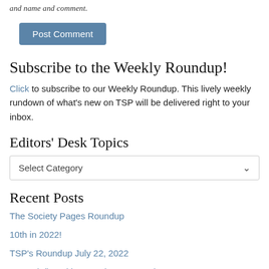and name and comment.
Post Comment
Subscribe to the Weekly Roundup!
Click to subscribe to our Weekly Roundup. This lively weekly rundown of what's new on TSP will be delivered right to your inbox.
Editors' Desk Topics
Select Category
Recent Posts
The Society Pages Roundup
10th in 2022!
TSP's Roundup July 22, 2022
TSP's (Bi)weekly Roundup June 10th, 2022